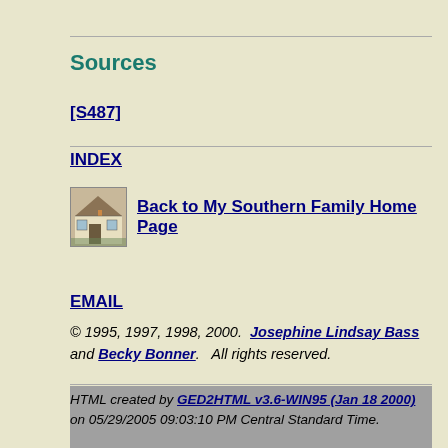Sources
[S487]
INDEX
Back to My Southern Family Home Page
EMAIL
© 1995, 1997, 1998, 2000.  Josephine Lindsay Bass and Becky Bonner.   All rights reserved.
HTML created by GED2HTML v3.6-WIN95 (Jan 18 2000) on 05/29/2005 09:03:10 PM Central Standard Time.